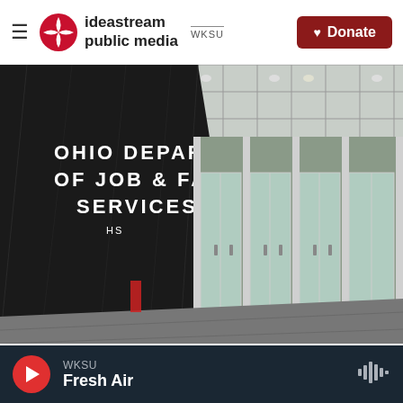ideastream public media WKSU | Donate
[Figure (photo): Exterior of Ohio Department of Job & Family Services building, showing dark marble facade with building name in white letters and glass entry doors]
Karen Kasler / Statehouse News Bureau
Gov. Mike DeWine says the state is unable to fix the issues in the unemployment system, which is part of the Ohio Department of Job and
WKSU Fresh Air